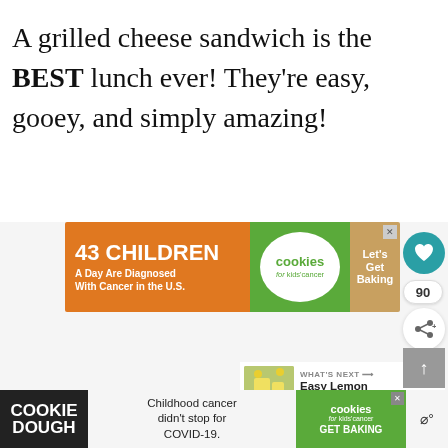A grilled cheese sandwich is the BEST lunch ever! They’re easy, gooey, and simply amazing!
[Figure (screenshot): Advertisement banner for Cookies for Kids' Cancer: '43 CHILDREN A Day Are Diagnosed With Cancer in the U.S.' with cookies logo and 'Let's Get Baking' text]
[Figure (screenshot): WHAT'S NEXT arrow, with thumbnail image and text 'Easy Lemon Fudge Recipe']
[Figure (screenshot): Scroll-to-top button (grey box with up arrow)]
[Figure (screenshot): Bottom advertisement: COOKIE DOUGH / Childhood cancer didn't stop for COVID-19. / cookies for kids' cancer GET BAKING]